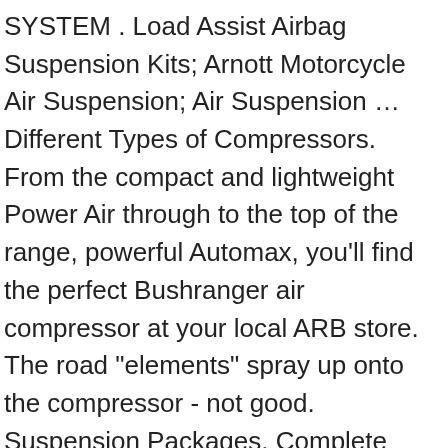SYSTEM . Load Assist Airbag Suspension Kits; Arnott Motorcycle Air Suspension; Air Suspension … Different Types of Compressors. From the compact and lightweight Power Air through to the top of the range, powerful Automax, you'll find the perfect Bushranger air compressor at your local ARB store. The road "elements" spray up onto the compressor - not good. Suspension Packages. Complete Compressor Air tank Combo. NEED HELP - Onboard Air Compressor. For most vehicles like our 4Runners, these units will stay mounted in the same spot throughout the life of your truck. VIAIR compressors and components are used in the OEM segment, 4x4 & Sport Air Suspension and have become the industry standard for both 12-volt and 24-volt automotive applications worldwide. On Board Air Compressor superstore. Get it as soon as Tue, Jan